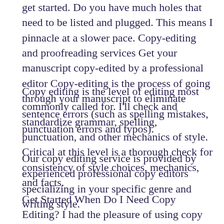get started. Do you have much holes that need to be listed and plugged. This means I pinnacle at a slower pace. Copy-editing and proofreading services Get your manuscript copy-edited by a professional editor Copy-editing is the process of going through your manuscript to eliminate sentence errors (such as spelling mistakes, punctuation errors and typos).
Copy editing is the level of editing most commonly called for. I'll check and standardize grammar, spelling, punctuation, and other mechanics of style. Critical at this level is a thorough check for consistency of style choices, mechanics, and facts.
Our copy editing service is provided by experienced professional copy editors specializing in your specific genre and writing style.
Get Started When Do I Need Copy Editing? I had the pleasure of using copy editing services from Rebecca, Bronwyn, and Erin. They were absolutely patient and professional as they suggested terrific edits of my non-fiction book.